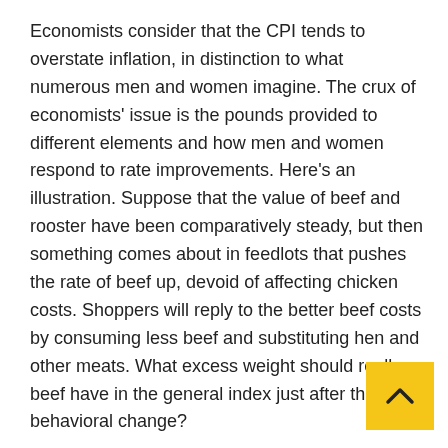Economists consider that the CPI tends to overstate inflation, in distinction to what numerous men and women imagine. The crux of economists' issue is the pounds provided to different elements and how men and women respond to rate improvements. Here's an illustration. Suppose that the value of beef and rooster have been comparatively steady, but then something comes about in feedlots that pushes the rate of beef up, devoid of affecting chicken costs. Shoppers will reply to the better beef costs by consuming less beef and substituting hen and other meats. What excess weight should really beef have in the general index just after this behavioral change?
The CPI keeps the weights the identical for two years, then updates them. One more vital evaluate, the Individual Usage Expenses Value Index, adjusts the weights constantly. Economists prefer this solution, which demonstrates a decrease rate of inflation.